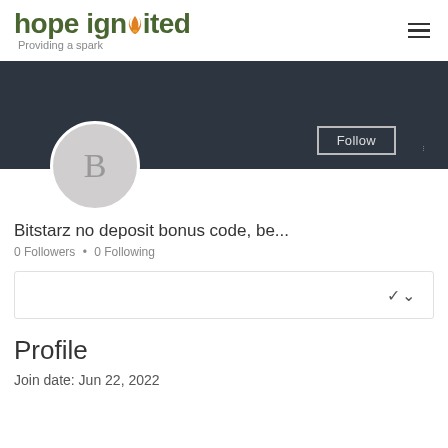[Figure (logo): Hope Ignited logo with flame icon and tagline 'Providing a spark']
[Figure (screenshot): Profile banner area with dark background, Follow button, vertical dots menu, and avatar circle with letter B]
Bitstarz no deposit bonus code, be...
0 Followers • 0 Following
[Figure (other): Dropdown selector box with chevron]
Profile
Join date: Jun 22, 2022